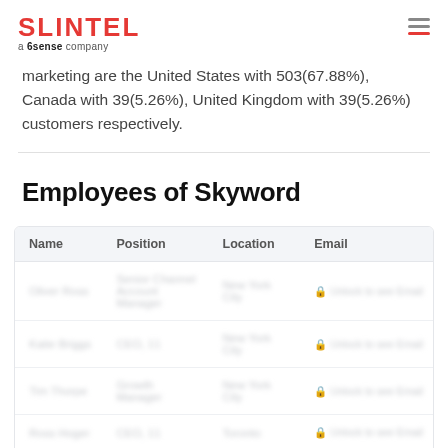SLINTEL a 6sense company
marketing are the United States with 503(67.88%), Canada with 39(5.26%), United Kingdom with 39(5.26%) customers respectively.
Employees of Skyword
| Name | Position | Location | Email |
| --- | --- | --- | --- |
| Oliver Ross | Senior Channel Account Manager | New York City | 🔒 Unlock to see Email |
| Katie Briggs | CEO, 11 | New York City | 🔒 Unlock to see Email |
| Tim Thorpe | Growth Manager | New York City | 🔒 Unlock to see Email |
| Ross Hoger | CEO, 11 | Toronto | 🔒 Unlock to see Email |
| Mike Thacker | CEO, 11 |  |  |